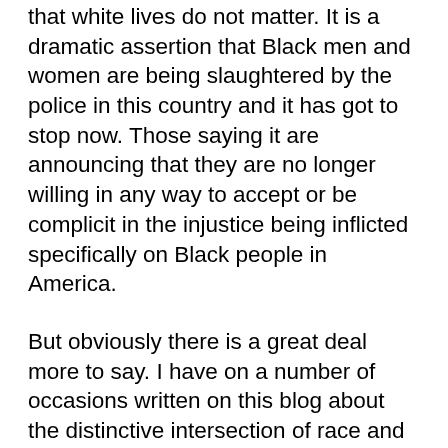that white lives do not matter.  It is a dramatic assertion that Black men and women are being slaughtered by the police in this country and it has got to stop now.  Those saying it are announcing that they are no longer willing in any way to accept or be complicit in the injustice being inflicted specifically on Black people in America.
But obviously there is a great deal more to say.  I have on a number of occasions written on this blog about the distinctive intersection of race and class in American history -- an intersection that one does not find in the same way in European nations [despite the English exploitation and brutalization of the Irish peasantry.]   Slavery was not some unfortunate peccadillo on the way to the realization of the American dream.  It was the central fact about the development of the American economy for the first two hundred and fifty years, and the particular structural deformations and social evils consequent